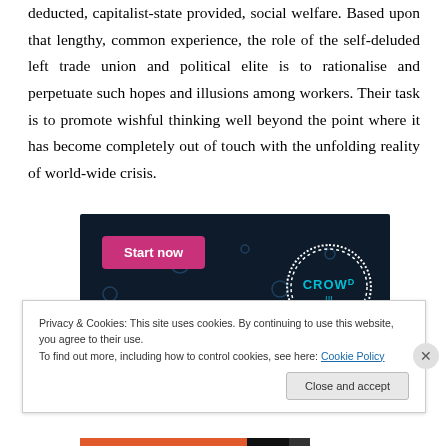deducted, capitalist-state provided, social welfare. Based upon that lengthy, common experience, the role of the self-deluded left trade union and political elite is to rationalise and perpetuate such hopes and illusions among workers. Their task is to promote wishful thinking well beyond the point where it has become completely out of touch with the unfolding reality of world-wide crisis.
[Figure (other): Advertisement banner with dark navy background, pink 'Start now' button, decorative dots, and CROWD logo in dotted circle on right side.]
Privacy & Cookies: This site uses cookies. By continuing to use this website, you agree to their use.
To find out more, including how to control cookies, see here: Cookie Policy